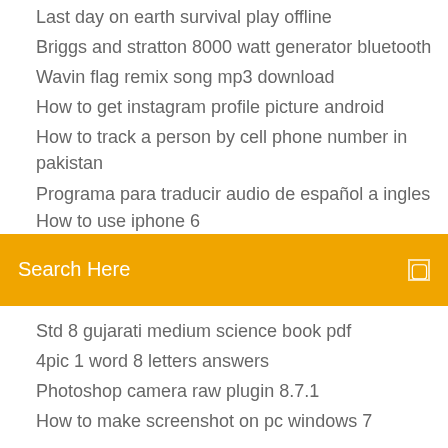Last day on earth survival play offline
Briggs and stratton 8000 watt generator bluetooth
Wavin flag remix song mp3 download
How to get instagram profile picture android
How to track a person by cell phone number in pakistan
Programa para traducir audio de español a ingles
How to use iphone 6
[Figure (screenshot): Orange/yellow search bar with 'Search Here' text and a small square icon on the right]
Std 8 gujarati medium science book pdf
4pic 1 word 8 letters answers
Photoshop camera raw plugin 8.7.1
How to make screenshot on pc windows 7
Harris Jayaraj Hits Tamil Songs Download MassTamilan StarMusiq
[Figure (infographic): Social media icons: Facebook (f), Twitter (bird), Dribbble (circle), Behance (Be)]